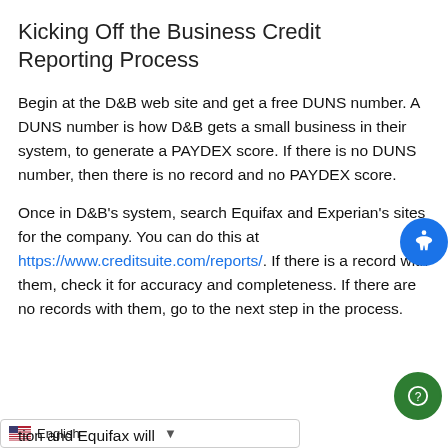Kicking Off the Business Credit Reporting Process
Begin at the D&B web site and get a free DUNS number. A DUNS number is how D&B gets a small business in their system, to generate a PAYDEX score. If there is no DUNS number, then there is no record and no PAYDEX score.
Once in D&B's system, search Equifax and Experian's sites for the company. You can do this at https://www.creditsuite.com/reports/. If there is a record with them, check it for accuracy and completeness. If there are no records with them, go to the next step in the process.